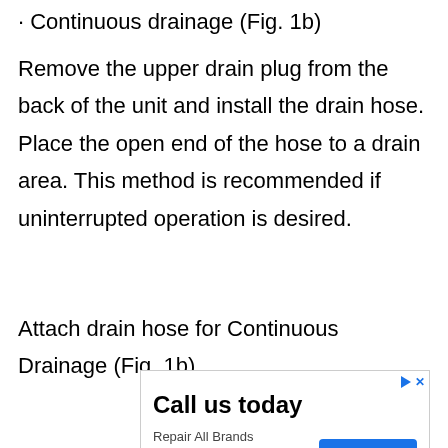· Continuous drainage (Fig. 1b)
Remove the upper drain plug from the back of the unit and install the drain hose. Place the open end of the hose to a drain area. This method is recommended if uninterrupted operation is desired.
Attach drain hose for Continuous Drainage (Fig. 1b)
[Figure (other): Advertisement banner: Call us today - Repair All Brands - ashburnhvac.services - Learn More button]